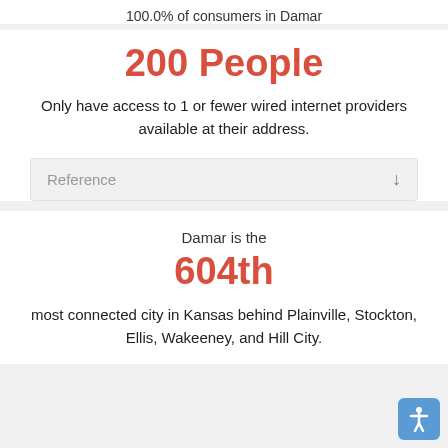100.0% of consumers in Damar
200 People
Only have access to 1 or fewer wired internet providers available at their address.
Reference
Damar is the
604th
most connected city in Kansas behind Plainville, Stockton, Ellis, Wakeeney, and Hill City.